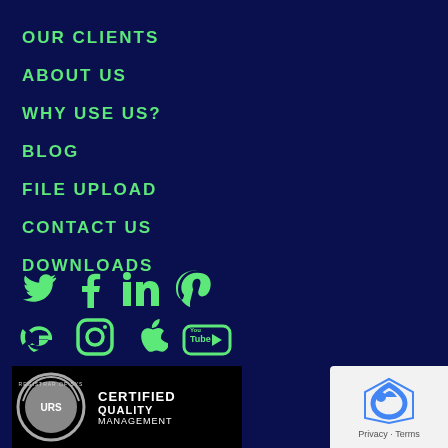OUR CLIENTS
ABOUT US
WHY USE US?
BLOG
FILE UPLOAD
CONTACT US
DOWNLOADS
[Figure (infographic): Social media icons row 1: Twitter, Facebook, LinkedIn, Pinterest]
[Figure (infographic): Social media icons row 2: Google, Instagram, Apple, YouTube]
[Figure (logo): URS Certified Quality Management badge on black background]
[Figure (logo): reCAPTCHA widget with Privacy and Terms text]